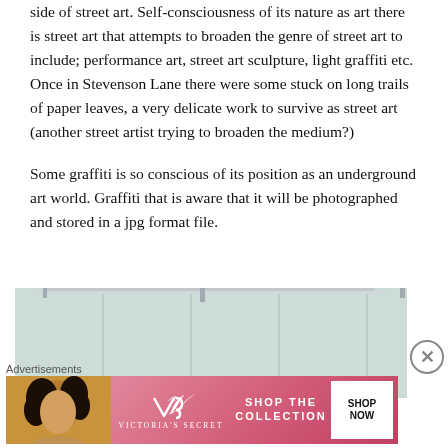side of street art. Self-consciousness of its nature as art there is street art that attempts to broaden the genre of street art to include; performance art, street art sculpture, light graffiti etc. Once in Stevenson Lane there were some stuck on long trails of paper leaves, a very delicate work to survive as street art (another street artist trying to broaden the medium?)
Some graffiti is so conscious of its position as an underground art world. Graffiti that is aware that it will be photographed and stored in a jpg format file.
[Figure (photo): A photograph showing a light-coloured panel or surface, possibly paper or fabric attached to a wall, appearing pale blue-grey with vertical divisions suggesting panels or leaves hanging in a row. Metal fixtures visible at the top.]
Advertisements
[Figure (photo): Victoria's Secret advertisement banner showing a model with curly dark hair on the left, the Victoria's Secret logo with a decorative V symbol in the center, text reading 'SHOP THE COLLECTION' and a 'SHOP NOW' button on a pink/red gradient background.]